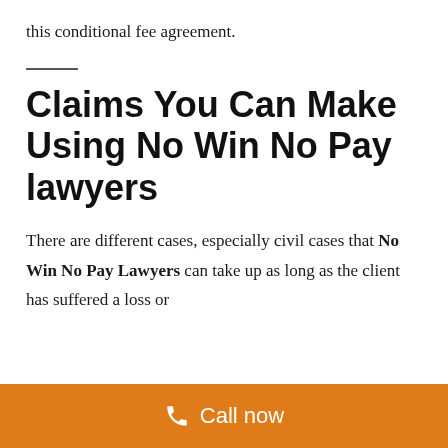this conditional fee agreement.
Claims You Can Make Using No Win No Pay lawyers
There are different cases, especially civil cases that No Win No Pay Lawyers can take up as long as the client has suffered a loss or
Call now